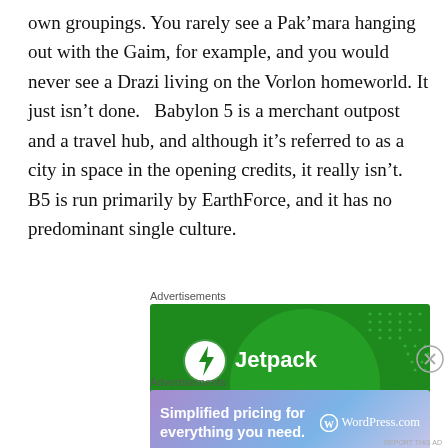own groupings.  You rarely see a Pak’mara hanging out with the Gaim, for example, and you would never see a Drazi living on the Vorlon homeworld.  It just isn’t done.   Babylon 5 is a merchant outpost and a travel hub, and although it’s referred to as a city in space in the opening credits, it really isn’t.  B5 is run primarily by EarthForce, and it has no predominant single culture.
Advertisements
[Figure (other): Jetpack advertisement on green background with circular logo and white text 'Jetpack']
Advertisements
[Figure (other): WordPress.com advertisement with purple-blue gradient background, text 'Simplified pricing for everything you need.' and WordPress.com logo]